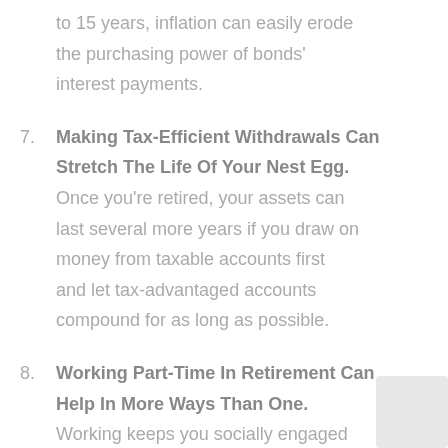to 15 years, inflation can easily erode the purchasing power of bonds' interest payments.
7. Making Tax-Efficient Withdrawals Can Stretch The Life Of Your Nest Egg. Once you're retired, your assets can last several more years if you draw on money from taxable accounts first and let tax-advantaged accounts compound for as long as possible.
8. Working Part-Time In Retirement Can Help In More Ways Than One. Working keeps you socially engaged and reduces the amount of your nest